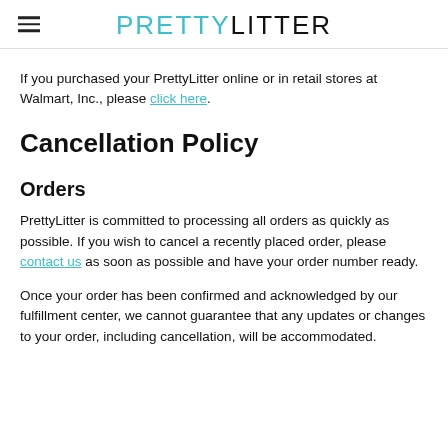PRETTYLITTER
If you purchased your PrettyLitter online or in retail stores at Walmart, Inc., please click here.
Cancellation Policy
Orders
PrettyLitter is committed to processing all orders as quickly as possible. If you wish to cancel a recently placed order, please contact us as soon as possible and have your order number ready.
Once your order has been confirmed and acknowledged by our fulfillment center, we cannot guarantee that any updates or changes to your order, including cancellation, will be accommodated.